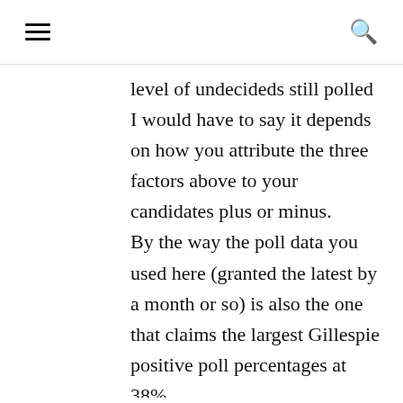≡  🔍
level of undecideds still polled I would have to say it depends on how you attribute the three factors above to your candidates plus or minus. By the way the poll data you used here (granted the latest by a month or so) is also the one that claims the largest Gillespie positive poll percentages at 38%